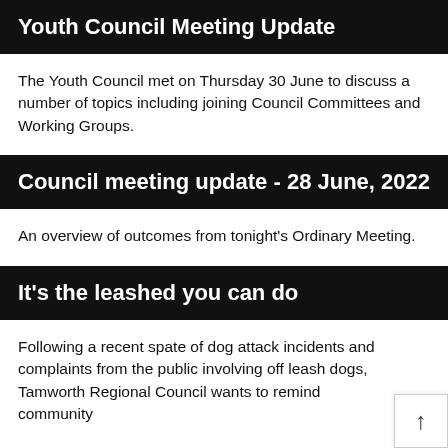Youth Council Meeting Update
The Youth Council met on Thursday 30 June to discuss a number of topics including joining Council Committees and Working Groups.
Council meeting update - 28 June, 2022
An overview of outcomes from tonight's Ordinary Meeting.
It's the leashed you can do
Following a recent spate of dog attack incidents and complaints from the public involving off leash dogs, Tamworth Regional Council wants to remind community